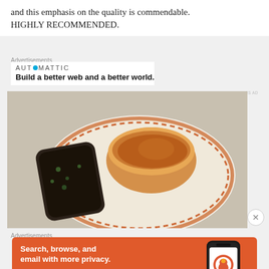and this emphasis on the quality is commendable. HIGHLY RECOMMENDED.
Advertisements
[Figure (infographic): Automattic advertisement: logo with blue circle dot, tagline 'Build a better web and a better world.']
[Figure (photo): Food photo showing a decorative plate with a bowl of curry/sauce and a piece of grilled/roasted meat on the side. Watermark visible on right edge.]
Advertisements
[Figure (infographic): DuckDuckGo advertisement on orange background: 'Search, browse, and email with more privacy. All in One Free App' with phone image showing DuckDuckGo app.]